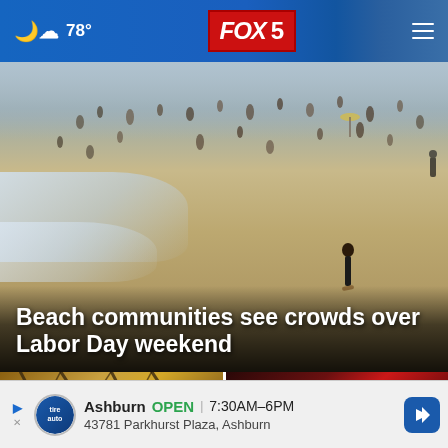78° FOX 5
[Figure (photo): Aerial view of a crowded beach with many people on sand and in the water, waves visible on the left side, surfers walking along the shoreline.]
Beach communities see crowds over Labor Day weekend
[Figure (photo): Left thumbnail: steel tower structure against amber/brown sky background.]
[Figure (photo): Right thumbnail: dark red scene with a play button overlay and an X close button, appears to be a video thumbnail.]
Ashburn OPEN | 7:30AM–6PM 43781 Parkhurst Plaza, Ashburn